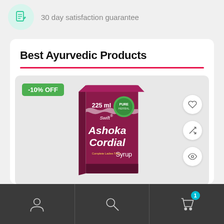[Figure (illustration): Icon of a document/receipt with a pencil, inside a mint-green circle]
30 day satisfaction guarantee
Best Ayurvedic Products
[Figure (photo): Product photo of Swift Ashoka Cordial Syrup 225ml in a maroon box, with a -10% OFF badge, and heart, compare, and view icons on the right side]
[Figure (illustration): Bottom navigation bar with person/account icon, search icon, and shopping bag icon with badge showing 1]